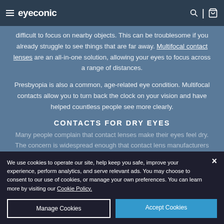eyeconic
difficult to focus on nearby objects. This can be troublesome if you already struggle to see things that are far away. Multifocal contact lenses are an all-in-one solution, allowing your eyes to focus across a range of distances.
Presbyopia is also a common, age-related eye condition. Multifocal contacts allow you to turn back the clock on your vision and have helped countless people see more clearly.
CONTACTS FOR DRY EYES
Many people complain that contact lenses make their eyes feel dry. The concern is widespread enough that contact lens manufacturers have brought many different products to market that seal moisture and keep eyes hydrated. Eyeconic carries the top brands of contacts directed at dryness.
We use cookies to operate our site, help keep you safe, improve your experience, perform analytics, and serve relevant ads. You may choose to consent to our use of cookies, or manage your own preferences. You can learn more by visiting our Cookie Policy.